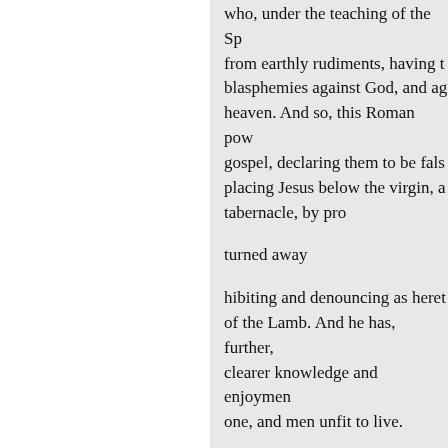who, under the teaching of the Sp from earthly rudiments, having t blasphemies against God, and ag heaven. And so, this Roman pow gospel, declaring them to be fals placing Jesus below the virgin, a tabernacle, by pro
turned away
hibiting and denouncing as heret of the Lamb. And he has, further clearer knowledge and enjoymen one, and men unfit to live.
The power of this ten-kingdomed for this time only, was it given to warfare successfully, from the ti burning of heretics, or of the deli Like the litttle horn, and the blas with the beast, this power shall n captivity, according to the evils w